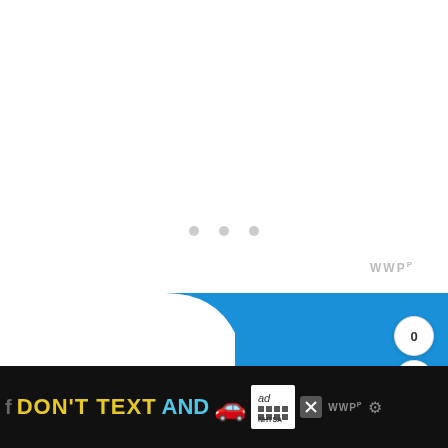[Figure (screenshot): Loading indicator with three gray dots in the center of a white screen]
WWP
[Figure (logo): Partial blue rounded banner with white curved cutout showing PUBLIC text - appears to be a government/public service app icon or logo]
0
[Figure (infographic): NHTSA DON'T TEXT AND DRIVE advertisement banner in black with yellow and cyan text, car emoji, ad choice logo, and close button]